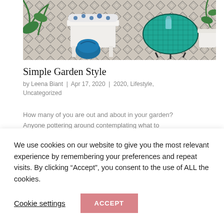[Figure (photo): Outdoor garden patio scene with white bench/stool with blue polka-dot cushion and blue bag, a round dark mosaic/tiled side table with a glass and tray, geometric black and white diamond pattern rug or tile floor, and green plants in background.]
Simple Garden Style
by Leena Biant | Apr 17, 2020 | 2020, Lifestyle, Uncategorized
How many of you are out and about in your garden? Anyone pottering around contemplating what to
We use cookies on our website to give you the most relevant experience by remembering your preferences and repeat visits. By clicking “Accept”, you consent to the use of ALL the cookies.
Cookie settings
ACCEPT